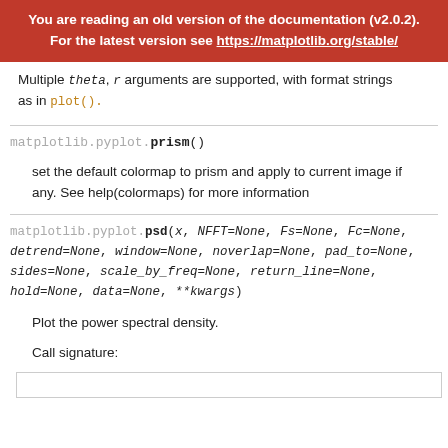You are reading an old version of the documentation (v2.0.2). For the latest version see https://matplotlib.org/stable/
Multiple theta, r arguments are supported, with format strings as in plot().
matplotlib.pyplot.prism()
set the default colormap to prism and apply to current image if any. See help(colormaps) for more information
matplotlib.pyplot.psd(x, NFFT=None, Fs=None, Fc=None, detrend=None, window=None, noverlap=None, pad_to=None, sides=None, scale_by_freq=None, return_line=None, hold=None, data=None, **kwargs)
Plot the power spectral density.
Call signature: